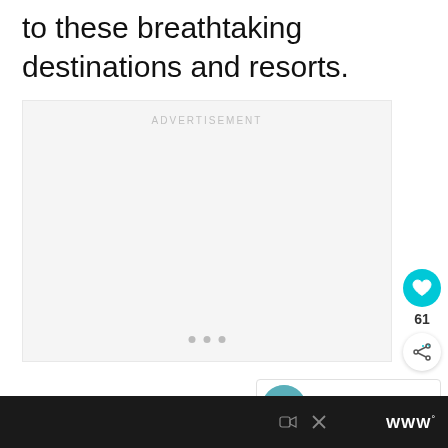to these breathtaking destinations and resorts.
[Figure (other): Advertisement placeholder box with 'ADVERTISEMENT' label and three loading dots, accompanied by a like button (heart icon, count 61), share button, and a 'WHAT'S NEXT' card showing 'Top 5 All Inclusive...']
WHAT'S NEXT → Top 5 All Inclusive... | footer bar with ad icons and logo